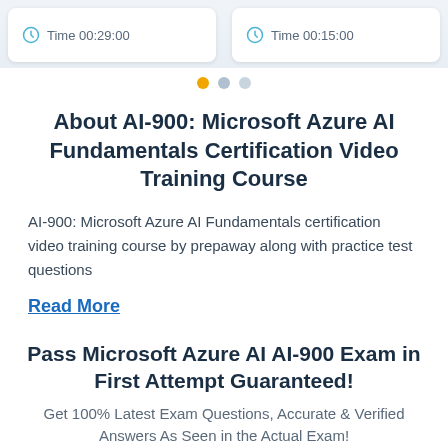[Figure (screenshot): Two white cards with clock icons showing Time 00:29:00 and Time 00:15:00 on a light blue-grey background]
[Figure (other): Carousel dots: one active orange dot and two inactive grey dots]
About AI-900: Microsoft Azure AI Fundamentals Certification Video Training Course
AI-900: Microsoft Azure AI Fundamentals certification video training course by prepaway along with practice test questions
Read More
Pass Microsoft Azure AI AI-900 Exam in First Attempt Guaranteed!
Get 100% Latest Exam Questions, Accurate & Verified Answers As Seen in the Actual Exam!